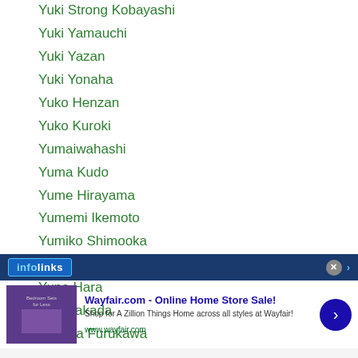Yuki Strong Kobayashi
Yuki Yamauchi
Yuki Yazan
Yuki Yonaha
Yuko Henzan
Yuko Kuroki
Yumaiwahashi
Yuma Kudo
Yume Hirayama
Yumemi Ikemoto
Yumiko Shimooka
Yumi Narita
Yuna Hara
Yuni Takada
Yunoka Furukawa
Yun Seong Kim
…naya (partial)
[Figure (screenshot): Wayfair.com advertisement banner with infolinks overlay. Shows 'Wayfair.com - Online Home Store Sale!' with text 'Shop for A Zillion Things Home across all styles at Wayfair!' and URL www.wayfair.com, with a purple bedroom furniture image and a blue arrow button.]